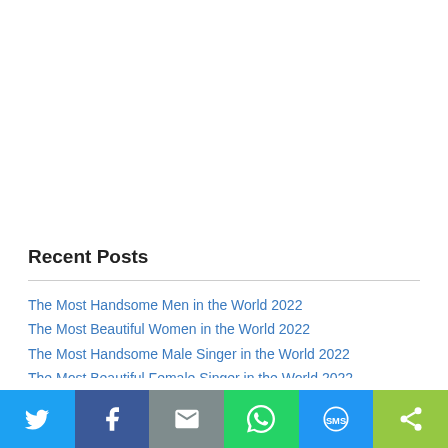Recent Posts
The Most Handsome Men in the World 2022
The Most Beautiful Women in the World 2022
The Most Handsome Male Singer in the World 2022
The Most Beautiful Female Singer in the World 2022
The Most Handsome Hollywood Actors 2022
We use cookies on our website to give you the most relevant experience by remembering your preferences and repeat visits. By clicking “Accept All”, you consent to the use of ALL the cookies. However, you may visit “Cookie Settings” to provide a controlled consent.
[Figure (infographic): Social sharing bar with icons for Twitter, Facebook, Email, WhatsApp, SMS, and ShareThis]